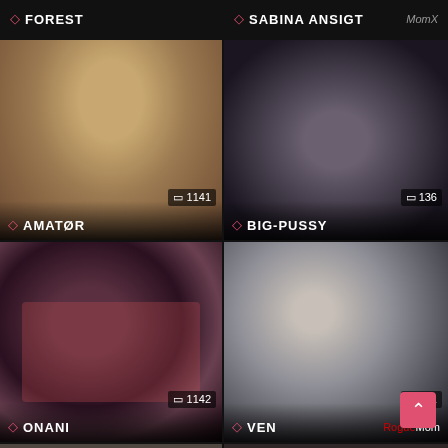[Figure (screenshot): Top strip showing partial category label 'FOREST' on left and 'SABINA ANSIGT' on right with MomX brand]
[Figure (screenshot): Video thumbnail for AMATØR category showing woman, view count 1141]
[Figure (screenshot): Video thumbnail for BIG-PUSSY category, view count 136]
[Figure (screenshot): Video thumbnail for ONANI category showing woman with lingerie, view count 1142]
[Figure (screenshot): Video thumbnail for VEN category showing young man, view count 131, RogueMom brand]
[Figure (screenshot): Bottom left partial thumbnail]
[Figure (screenshot): Bottom right partial thumbnail with scroll-to-top button]